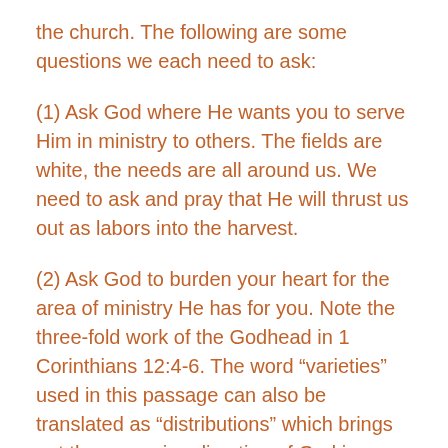the church. The following are some questions we each need to ask:
(1) Ask God where He wants you to serve Him in ministry to others. The fields are white, the needs are all around us. We need to ask and pray that He will thrust us out as labors into the harvest.
(2) Ask God to burden your heart for the area of ministry He has for you. Note the three-fold work of the Godhead in 1 Corinthians 12:4-6. The word “varieties” used in this passage can also be translated as “distributions” which brings out the sovereign direction of God in our ministries. There is (a) the giving of gifts for ministry by the Holy Spirit (vs. 4), (b) the Lord Jesus’ direction in ministry (vs. 5), and (c) the Father’s blessing and prospering of those ministries (vs. 6).